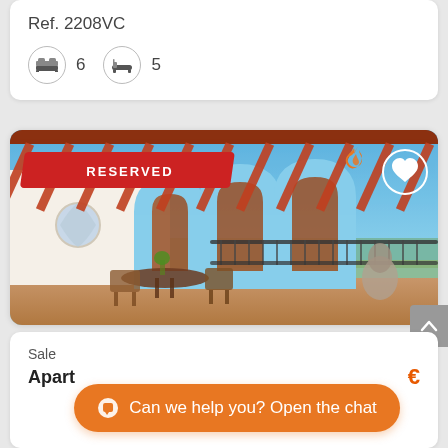Ref. 2208VC
6  5
[Figure (photo): Outdoor terrace of a property with pergola, arched columns, outdoor dining furniture, railing, and sea/sky view in the background. A red 'RESERVED' banner is overlaid on the top-left of the image, a flame icon and heart icon appear in the top-right.]
Sale
Apart
Can we help you? Open the chat